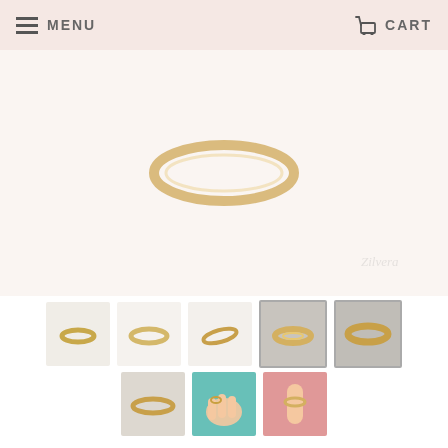MENU   CART
[Figure (photo): Product gallery showing a gold ring. Top row: 5 thumbnail images of the ring from different angles including two with grey backgrounds. Bottom row: 3 thumbnail images including one on teal background showing hands, and one on pink background.]
MEET ME HALFWAY SPARKLING PURE RING GOLD
€69.00
This 18 carat Gold plated Silver ring has it all!